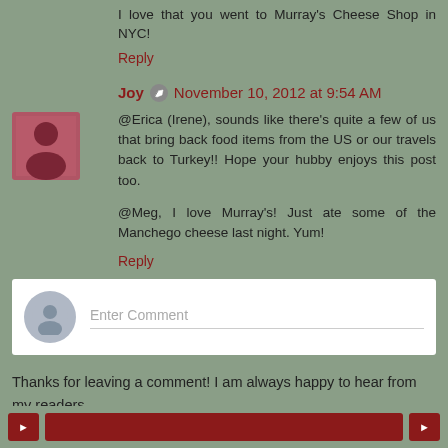I love that you went to Murray's Cheese Shop in NYC!
Reply
Joy  November 10, 2012 at 9:54 AM
@Erica (Irene), sounds like there's quite a few of us that bring back food items from the US or our travels back to Turkey!! Hope your hubby enjoys this post too.

@Meg, I love Murray's! Just ate some of the Manchego cheese last night. Yum!
Reply
Enter Comment
Thanks for leaving a comment! I am always happy to hear from my readers.